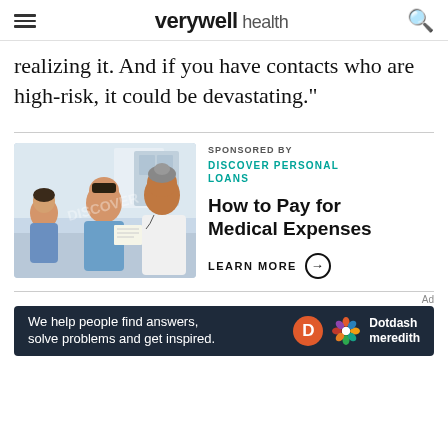verywell health
realizing it. And if you have contacts who are high-risk, it could be devastating."
[Figure (photo): A doctor in a white coat reviewing a document with a male patient, with a child patient visible in the background, in a medical office setting. Discover watermark overlay visible.]
SPONSORED BY
DISCOVER PERSONAL LOANS

How to Pay for Medical Expenses

LEARN MORE →
Ad
We help people find answers, solve problems and get inspired. Dotdash meredith